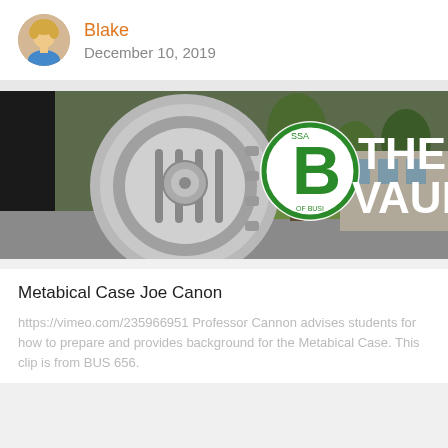Blake
December 10, 2019
[Figure (photo): Banner image for 'The Vault' blog, showing a bank vault door overlaid with a Business school logo (green B) and the text 'THE VAULT' in bold white letters, with trees and a building in background.]
Metabical Case Joe Canon
https://vimeo.com/235966951 Professor Cannon advises students for how to prepare and provides background for the Metabical Case. This clip is from BUS 656.